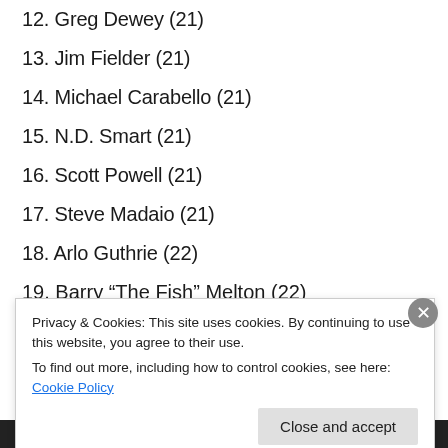12. Greg Dewey (21)
13. Jim Fielder (21)
14. Michael Carabello (21)
15. N.D. Smart (21)
16. Scott Powell (21)
17. Steve Madaio (21)
18. Arlo Guthrie (22)
19. Barry “The Fish” Melton (22)
Privacy & Cookies: This site uses cookies. By continuing to use this website, you agree to their use.
To find out more, including how to control cookies, see here: Cookie Policy
Close and accept